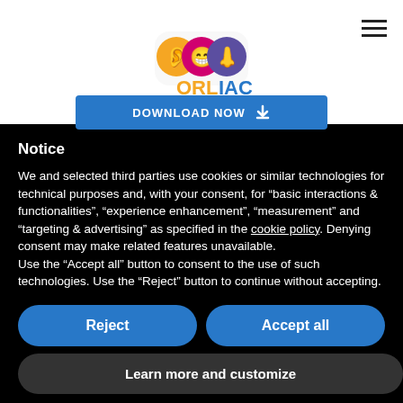[Figure (logo): ORLIAC logo with colorful ear, lips, and nose icons above the text ORL in orange/pink and IAC in blue]
[Figure (other): Blue download button with arrow icon labeled DOWNLOAD NOW]
Notice
We and selected third parties use cookies or similar technologies for technical purposes and, with your consent, for “basic interactions & functionalities”, “experience enhancement”, “measurement” and “targeting & advertising” as specified in the cookie policy. Denying consent may make related features unavailable.
Use the “Accept all” button to consent to the use of such technologies. Use the “Reject” button to continue without accepting.
Reject
Accept all
Learn more and customize